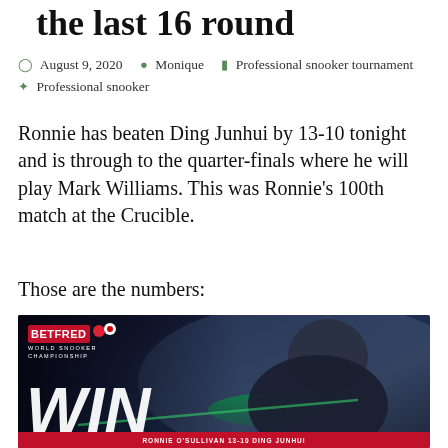the last 16 round
August 9, 2020  Monique  Professional snooker tournament  Professional snooker
Ronnie has beaten Ding Junhui by 13-10 tonight and is through to the quarter-finals where he will play Mark Williams. This was Ronnie's 100th match at the Crucible.
Those are the numbers:
[Figure (photo): Betfred World Snooker Championship promotional image showing a snooker player (Ronnie O'Sullivan) leaning over the table with a cue, with text WIN overlaid and bottom banner reading RONNIE O'SULLIVAN 13-10 DING JUNHUI]